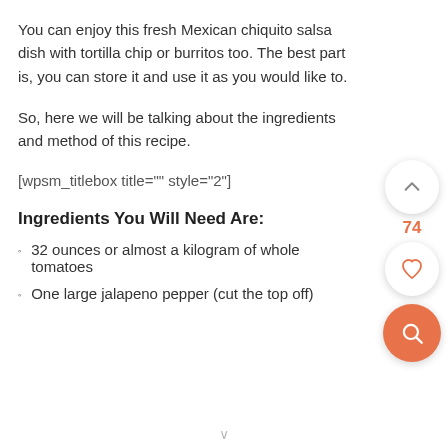You can enjoy this fresh Mexican chiquito salsa dish with tortilla chip or burritos too. The best part is, you can store it and use it as you would like to.
So, here we will be talking about the ingredients and method of this recipe.
[wpsm_titlebox title="" style="2"]
Ingredients You Will Need Are:
32 ounces or almost a kilogram of whole tomatoes
One large jalapeno pepper (cut the top off)